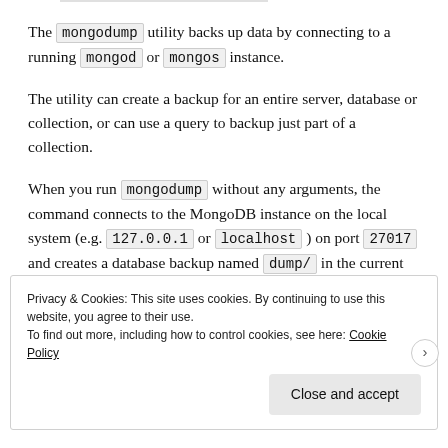The mongodump utility backs up data by connecting to a running mongod or mongos instance.
The utility can create a backup for an entire server, database or collection, or can use a query to backup just part of a collection.
When you run mongodump without any arguments, the command connects to the MongoDB instance on the local system (e.g. 127.0.0.1 or localhost ) on port 27017 and creates a database backup named dump/ in the current directory.
Privacy & Cookies: This site uses cookies. By continuing to use this website, you agree to their use. To find out more, including how to control cookies, see here: Cookie Policy